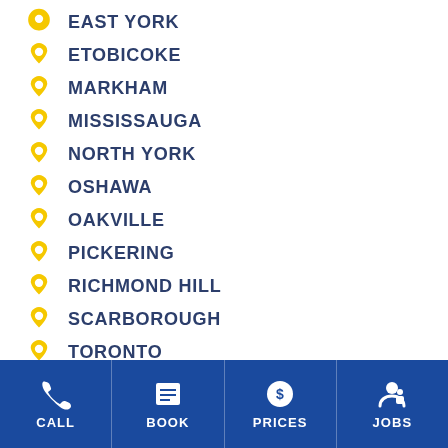EAST YORK
ETOBICOKE
MARKHAM
MISSISSAUGA
NORTH YORK
OSHAWA
OAKVILLE
PICKERING
RICHMOND HILL
SCARBOROUGH
TORONTO
CALL  BOOK  PRICES  JOBS